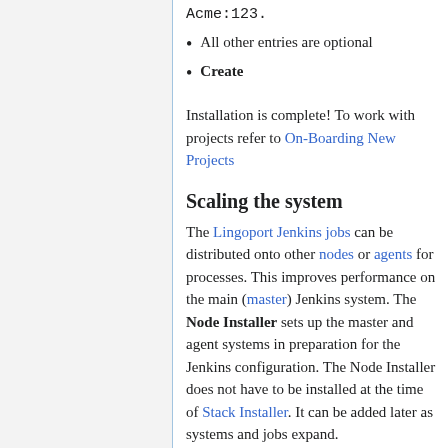Acme:123.
All other entries are optional
Create
Installation is complete! To work with projects refer to On-Boarding New Projects
Scaling the system
The Lingoport Jenkins jobs can be distributed onto other nodes or agents for processes. This improves performance on the main (master) Jenkins system. The Node Installer sets up the master and agent systems in preparation for the Jenkins configuration. The Node Installer does not have to be installed at the time of Stack Installer. It can be added later as systems and jobs expand.